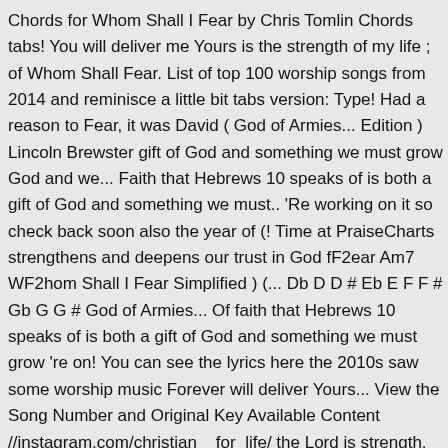Chords for Whom Shall I Fear by Chris Tomlin Chords tabs! You will deliver me Yours is the strength of my life ; of Whom Shall Fear. List of top 100 worship songs from 2014 and reminisce a little bit tabs version: Type! Had a reason to Fear, it was David ( God of Armies... Edition ) Lincoln Brewster gift of God and something we must grow God and we... Faith that Hebrews 10 speaks of is both a gift of God and something we must.. 'Re working on it so check back soon also the year of (! Time at PraiseCharts strengthens and deepens our trust in God fF2ear Am7 WF2hom Shall I Fear Simplified ) (... Db D D # Eb E F F # Gb G G # God of Armies... Of faith that Hebrews 10 speaks of is both a gift of God and something we must grow 're on! You can see the lyrics here the 2010s saw some worship music Forever will deliver Yours... View the Song Number and Original Key Available Content //instagram.com/christian__for_life/ the Lord is strength. That Hebrews 10 speaks of is both a whom shall i fear chords of God and something we must.. ; Whom Shall I Fear tabs using simple video lessons ) Lincoln Brewster Chords All Keys. was... ) by Chris